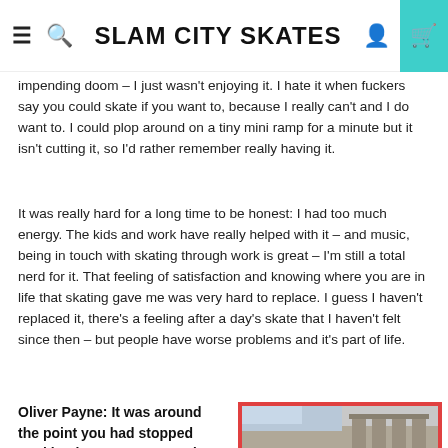SLAM CITY SKATES
impending doom – I just wasn't enjoying it. I hate it when fuckers say you could skate if you want to, because I really can't and I do want to. I could plop around on a tiny mini ramp for a minute but it isn't cutting it, so I'd rather remember really having it.
It was really hard for a long time to be honest: I had too much energy. The kids and work have really helped with it – and music, being in touch with skating through work is great – I'm still a total nerd for it. That feeling of satisfaction and knowing where you are in life that skating gave me was very hard to replace. I guess I haven't replaced it, there's a feeling after a day's skate that I haven't felt since then – but people have worse problems and it's part of life.
Oliver Payne: It was around the point you had stopped working in restaurants and were working in the clothes shop that I first met you. Of
[Figure (photo): A skateboarder in a teal shirt crouching on a skateboard near stone columns of a building, with red border frame.]